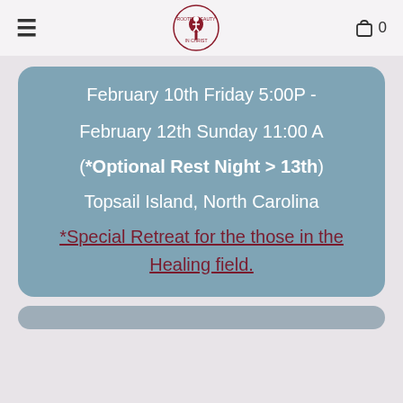≡  [logo]  🛍 0
February 10th Friday 5:00P -

February 12th Sunday 11:00 A

(*Optional Rest Night > 13th)

Topsail Island, North Carolina

*Special Retreat for the those in the Healing field.